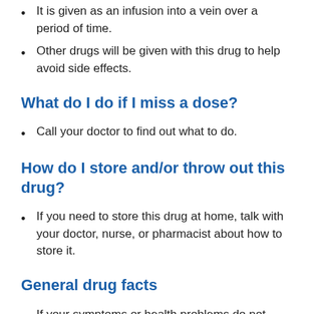It is given as an infusion into a vein over a period of time.
Other drugs will be given with this drug to help avoid side effects.
What do I do if I miss a dose?
Call your doctor to find out what to do.
How do I store and/or throw out this drug?
If you need to store this drug at home, talk with your doctor, nurse, or pharmacist about how to store it.
General drug facts
If your symptoms or health problems do not